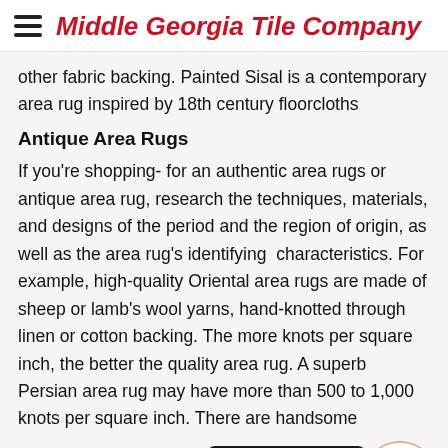Middle Georgia Tile Company
other fabric backing. Painted Sisal is a contemporary area rug inspired by 18th century floorcloths
Antique Area Rugs
If you're shopping- for an authentic area rugs or antique area rug, research the techniques, materials, and designs of the period and the region of origin, as well as the area rug's identifying  characteristics. For example, high-quality Oriental area rugs are made of sheep or lamb's wool yarns, hand-knotted through linen or cotton backing. The more knots per square inch, the better the quality area rug. A superb Persian area rug may have more than 500 to 1,000 knots per square inch. There are handsome reproductions made on... costly facsimiles with designs printed on the pile
[Figure (other): AR/camera icon in a white circle with peach border, next to a dark popup button reading 'See our products in your space']